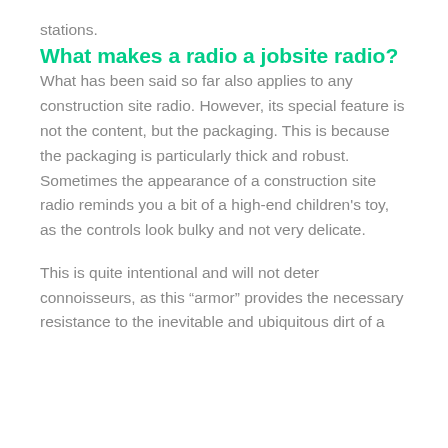stations.
What makes a radio a jobsite radio?
What has been said so far also applies to any construction site radio. However, its special feature is not the content, but the packaging. This is because the packaging is particularly thick and robust. Sometimes the appearance of a construction site radio reminds you a bit of a high-end children's toy, as the controls look bulky and not very delicate.
This is quite intentional and will not deter connoisseurs, as this “armor” provides the necessary resistance to the inevitable and ubiquitous dirt of a